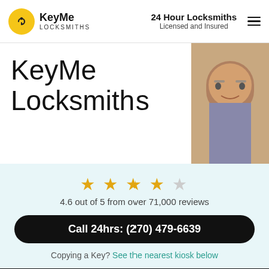KeyMe Locksmiths | 24 Hour Locksmiths Licensed and Insured
KeyMe Locksmiths
[Figure (photo): Photo of a male locksmith with glasses and beard]
4.6 out of 5 from over 71,000 reviews
Call 24hrs: (270) 479-6639
Copying a Key? See the nearest kiosk below
Emergencies
Average arrival time is 29 minutes
Call now: (270) 479-6639